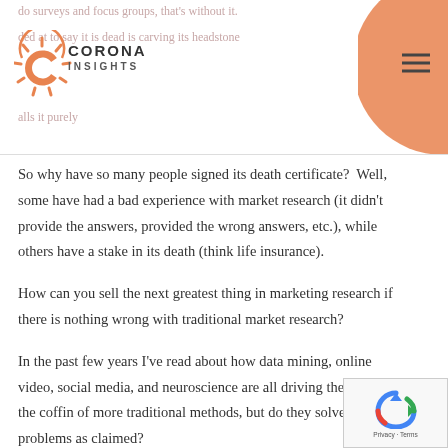Corona Insights
So why have so many people signed its death certificate? Well, some have had a bad experience with market research (it didn't provide the answers, provided the wrong answers, etc.), while others have a stake in its death (think life insurance).
How can you sell the next greatest thing in marketing research if there is nothing wrong with traditional market research?
In the past few years I've read about how data mining, online video, social media, and neuroscience are all driving the nails in the coffin of more traditional methods, but do they solve all of our problems as claimed?